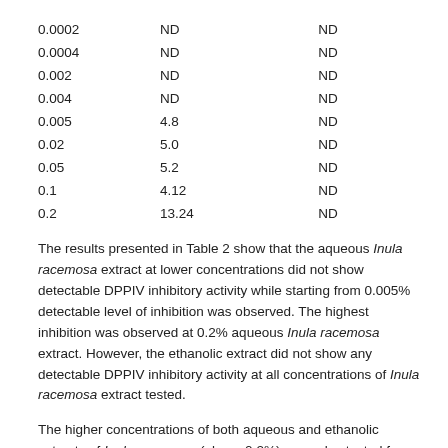| 0.0002 | ND | ND |
| 0.0004 | ND | ND |
| 0.002 | ND | ND |
| 0.004 | ND | ND |
| 0.005 | 4.8 | ND |
| 0.02 | 5.0 | ND |
| 0.05 | 5.2 | ND |
| 0.1 | 4.12 | ND |
| 0.2 | 13.24 | ND |
The results presented in Table 2 show that the aqueous Inula racemosa extract at lower concentrations did not show detectable DPPIV inhibitory activity while starting from 0.005% detectable level of inhibition was observed. The highest inhibition was observed at 0.2% aqueous Inula racemosa extract. However, the ethanolic extract did not show any detectable DPPIV inhibitory activity at all concentrations of Inula racemosa extract tested.
The higher concentrations of both aqueous and ethanolic extracts of Inula racemosa (above 0.2%) were also tested for the inhibition of the activity of DPPIV, but it was found that this lead to acidification of the reaction mixture which indicates self-deactivation of the DPPIV enzyme. Therefore those concentrations were not considered in the tables.